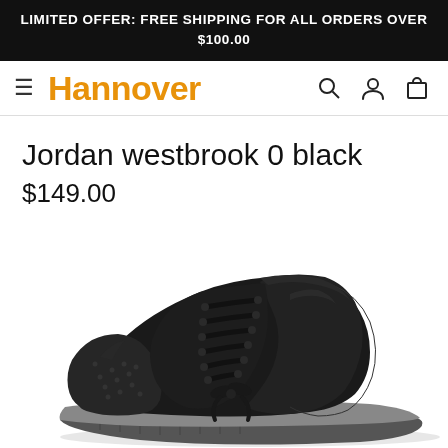LIMITED OFFER: FREE SHIPPING FOR ALL ORDERS OVER $100.00
[Figure (logo): Hannover brand logo in orange with hamburger menu and navigation icons (search, account, cart)]
Jordan westbrook 0 black
$149.00
[Figure (photo): Black high-top Jordan Westbrook 0 sneaker on white background, showing leather upper with lace-up closure and textured rubber sole]